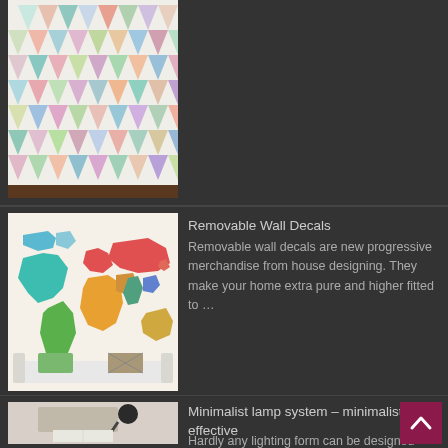[Figure (photo): Colorful herringbone/leaf pattern quilt hanging on a wall, partially visible at top of page]
[Figure (photo): A white sofa with green and patterned pillows against a white wall covered with a colorful world map wall decal]
Removable Wall Decals
Removable wall decals are new progressive merchandise from house designing. They make your home extra pure and higher fitted to …
[Figure (photo): A minimalist desk lamp over a wooden chair and open book on a light-colored surface]
Minimalist lamp system – minimalist but effective
Hardly any lighting form can be designed individually and is more flexible than lamp rail systems. Whether in apartments with a …